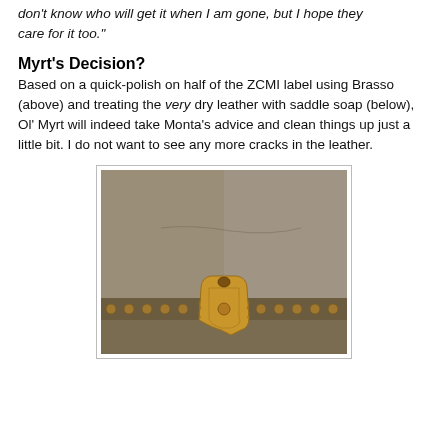don't know who will get it when I am gone, but I hope they care for it too."
Myrt's Decision?
Based on a quick-polish on half of the ZCMI label using Brasso (above) and treating the very dry leather with saddle soap (below), Ol' Myrt will indeed take Monta's advice and clean things up just a little bit. I do not want to see any more cracks in the leather.
[Figure (photo): Close-up photograph of aged tan/brown leather with rivets and a brass decorative piece, showing the texture of the leather surface after treatment with saddle soap.]